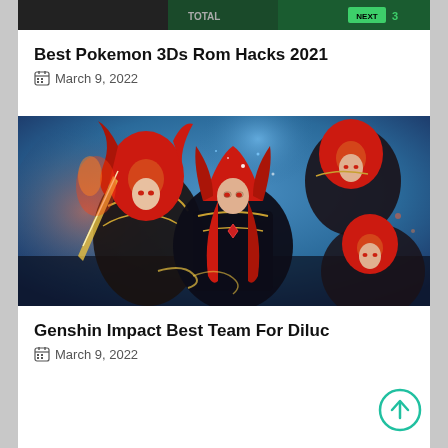[Figure (screenshot): Top cropped game thumbnail showing dark background with green 'NEXT' badge]
Best Pokemon 3Ds Rom Hacks 2021
March 9, 2022
[Figure (illustration): Anime-style illustration of multiple red-haired characters from Genshin Impact (Diluc), wearing dark armored clothing against a blue sky background]
Genshin Impact Best Team For Diluc
March 9, 2022